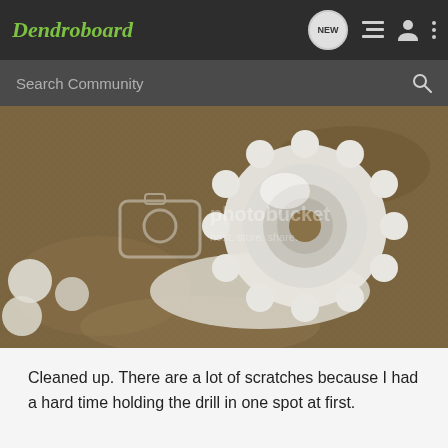Dendroboard
[Figure (photo): A white ceramic or plaster molded piece with a donut/flower shape sitting on a burlap surface, with white liquid silicone blobs around it. A Photobucket watermark overlay is visible on the image.]
Cleaned up. There are a lot of scratches because I had a hard time holding the drill in one spot at first.